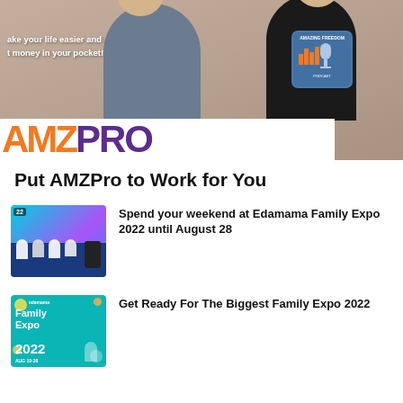[Figure (photo): Hero banner photo of two men (one bald in grey shirt, one younger in black Amazing Freedom Podcast t-shirt) with AMZPro logo overlay and text 'ake your life easier and t money in your pocket!']
Put AMZPro to Work for You
[Figure (photo): Thumbnail photo of Edamama Family Expo 2022 event with people on stage, colorful background, number 22 badge]
Spend your weekend at Edamama Family Expo 2022 until August 28
[Figure (photo): Thumbnail of Edamama Family Expo 2022 promotional graphic with teal background, Family Expo 2022 text]
Get Ready For The Biggest Family Expo 2022